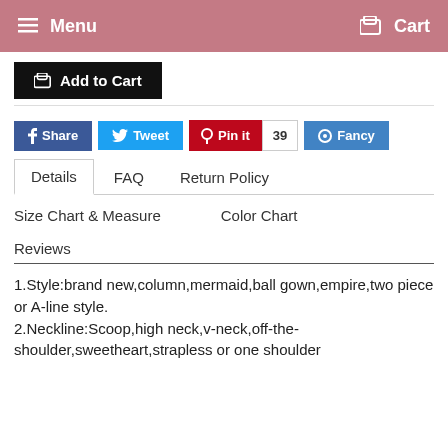Menu  Cart
Add to Cart
Share  Tweet  Pin it 39  Fancy
Details  FAQ  Return Policy  Size Chart & Measure  Color Chart  Reviews
1.Style:brand new,column,mermaid,ball gown,empire,two piece or A-line style.
2.Neckline:Scoop,high neck,v-neck,off-the-shoulder,sweetheart,strapless or one shoulder